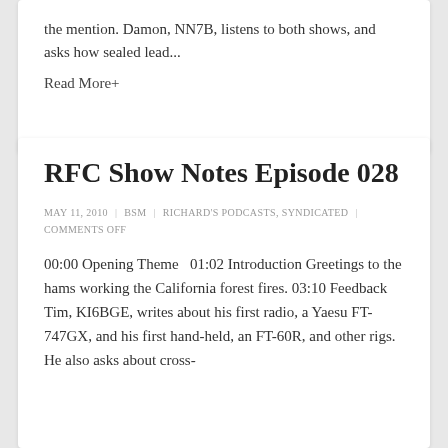the mention. Damon, NN7B, listens to both shows, and asks how sealed lead...
Read More+
RFC Show Notes Episode 028
MAY 11, 2010 | BSM | RICHARD'S PODCASTS, SYNDICATED | COMMENTS OFF
00:00 Opening Theme  01:02 Introduction Greetings to the hams working the California forest fires. 03:10 Feedback Tim, KI6BGE, writes about his first radio, a Yaesu FT-747GX, and his first hand-held, an FT-60R, and other rigs. He also asks about cross-